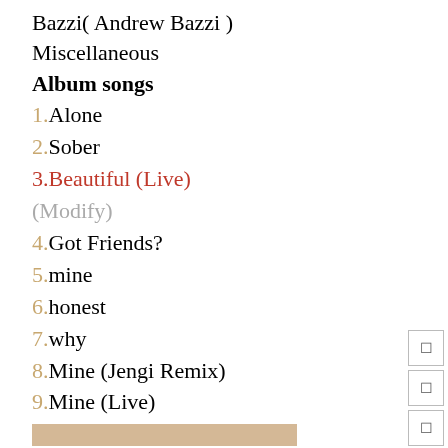Bazzi( Andrew Bazzi )
Miscellaneous
Album songs
1.Alone
2.Sober
3.Beautiful (Live)
(Modify)
4.Got Friends?
5.mine
6.honest
7.why
8.Mine (Jengi Remix)
9.Mine (Live)
[Figure (other): Tan/beige horizontal divider bar]
Bazzi( Andrew Bazzi )
Top Songs
> Focus